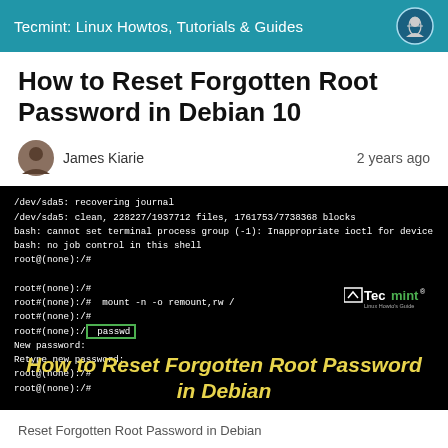Tecmint: Linux Howtos, Tutorials & Guides
How to Reset Forgotten Root Password in Debian 10
James Kiarie   2 years ago
[Figure (screenshot): Terminal screenshot showing Debian recovery mode commands including mount -n -o remount,rw / and passwd command highlighted in green box, with overlay text 'How to Reset Forgotten Root Password in Debian' in yellow italic]
Reset Forgotten Root Password in Debian